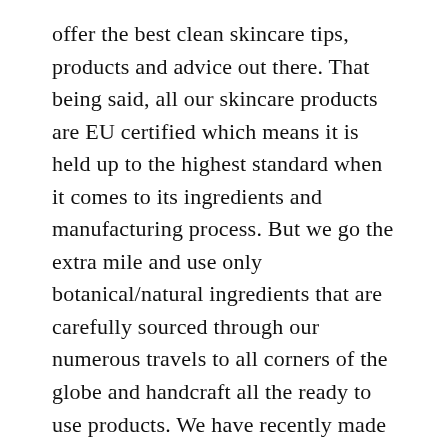offer the best clean skincare tips, products and advice out there. That being said, all our skincare products are EU certified which means it is held up to the highest standard when it comes to its ingredients and manufacturing process. But we go the extra mile and use only botanical/natural ingredients that are carefully sourced through our numerous travels to all corners of the globe and handcraft all the ready to use products. We have recently made the change to glass packaging and even our bubble wrap is biodegradable. Little steps for big changes.
We are the proof that science, ancestral knowledge and nature make for an amazing